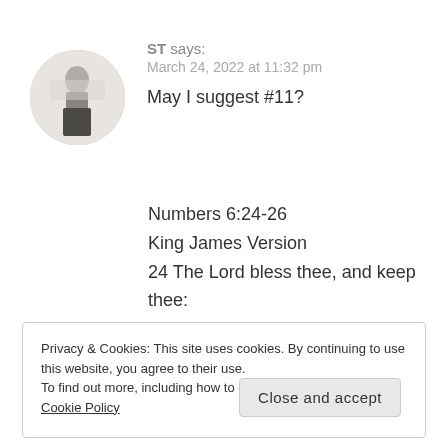[Figure (photo): Circular avatar photo of a person standing, shown from behind, wearing light top and dark pants, against a white background]
ST says:
March 24, 2022 at 11:32 pm
May I suggest #11?

Numbers 6:24-26
King James Version
24 The Lord bless thee, and keep thee:
Privacy & Cookies: This site uses cookies. By continuing to use this website, you agree to their use.
To find out more, including how to control cookies, see here: Cookie Policy
Close and accept